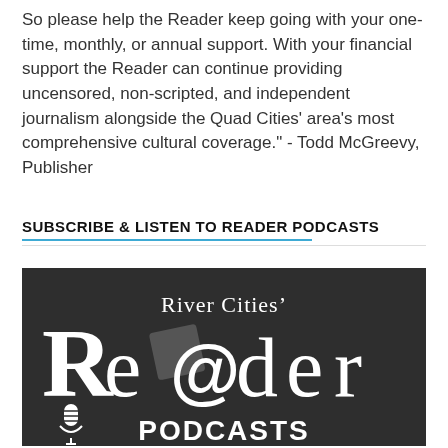So please help the Reader keep going with your one-time, monthly, or annual support. With your financial support the Reader can continue providing uncensored, non-scripted, and independent journalism alongside the Quad Cities' area's most comprehensive cultural coverage." - Todd McGreevy, Publisher
SUBSCRIBE & LISTEN TO READER PODCASTS
[Figure (logo): River Cities' Reader Podcasts logo on dark background — large stylized text 'Re@der' with 'River Cities'' above it and a microphone icon with 'PODCASTS' text below, all in white on dark gray/charcoal background.]